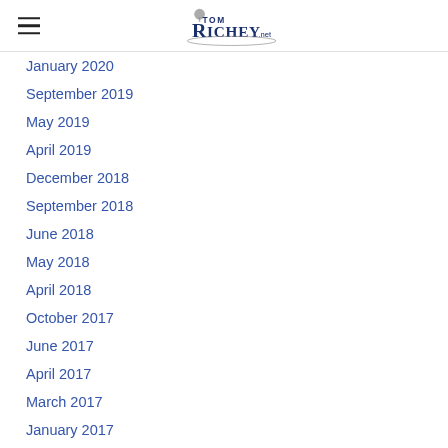Tom Richey .net
January 2020
September 2019
May 2019
April 2019
December 2018
September 2018
June 2018
May 2018
April 2018
October 2017
June 2017
April 2017
March 2017
January 2017
November 2016
October 2016
September 2016
June 2016